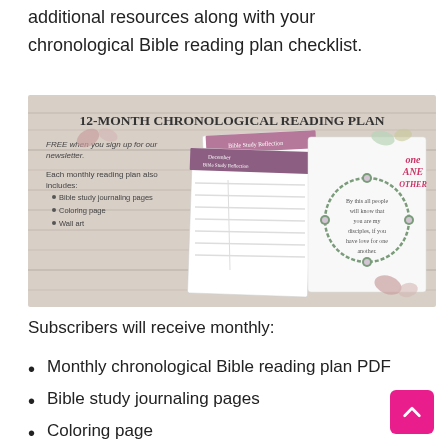additional resources along with your chronological Bible reading plan checklist.
[Figure (illustration): 12-Month Chronological Reading Plan promotional image showing Bible study pages, journaling pages, coloring page, wall art with floral decorations on a wood background. Text: '12-MONTH CHRONOLOGICAL READING PLAN', 'FREE when you sign up for our newsletter.', 'Each monthly reading plan also includes: Bible study journaling pages, Coloring page, Wall art']
Subscribers will receive monthly:
Monthly chronological Bible reading plan PDF
Bible study journaling pages
Coloring page